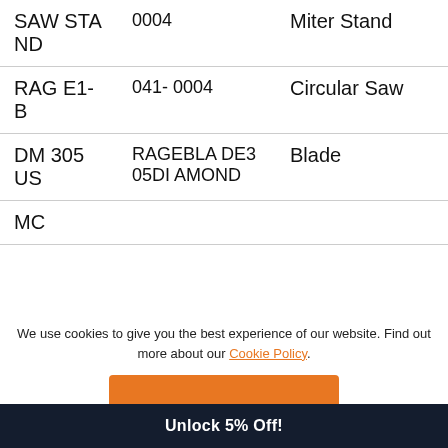| Model | Part No. | Description |
| --- | --- | --- |
| SAW STAND | 0004 | Miter Stand |
| RAGE1-B | 041-0004 | Circular Saw |
| DM305US | RAGEBLADE305DIAMOND | Blade |
| MC |  |  |
We use cookies to give you the best experience of our website. Find out more about our Cookie Policy.
Accept
Unlock 5% Off!